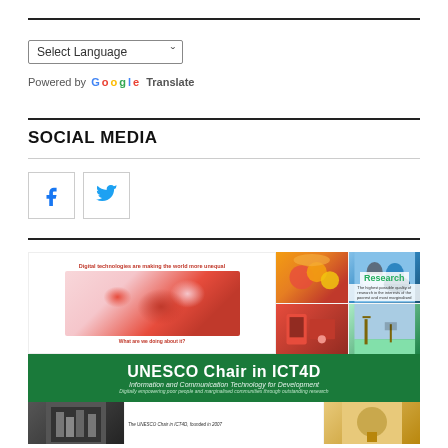Select Language
Powered by Google Translate
SOCIAL MEDIA
[Figure (infographic): Social media icons: Facebook (blue F) and Twitter (blue bird) in bordered square boxes]
[Figure (infographic): Composite image showing: left panel with world map titled 'Digital technologies are making the world more unequal' and subtext 'What are we doing about it?'; right panel with 4 photos (fruits/market, children, tech equipment, outdoor structure) with 'Research' overlay text and caption 'The highest possible quality of research in the interests of the poorest and most marginalised'; green banner 'UNESCO Chair in ICT4D - Information and Communication Technology for Development - Digitally empowering poor people and marginalised communities through outstanding research'; bottom strip with additional images and text 'The UNESCO Chair in ICT4D, founded in 2007']